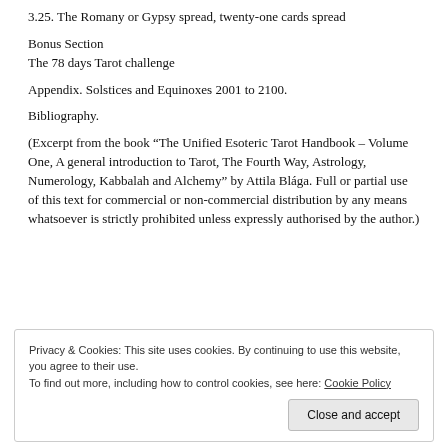3.25. The Romany or Gypsy spread, twenty-one cards spread
Bonus Section
The 78 days Tarot challenge
Appendix. Solstices and Equinoxes 2001 to 2100.
Bibliography.
(Excerpt from the book “The Unified Esoteric Tarot Handbook – Volume One, A general introduction to Tarot, The Fourth Way, Astrology, Numerology, Kabbalah and Alchemy” by Attila Blága. Full or partial use of this text for commercial or non-commercial distribution by any means whatsoever is strictly prohibited unless expressly authorised by the author.)
Privacy & Cookies: This site uses cookies. By continuing to use this website, you agree to their use.
To find out more, including how to control cookies, see here: Cookie Policy
Close and accept